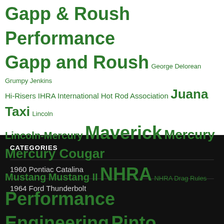Gapp & Roush Performance Gapp and Roush George Delorean Grumpy Jenkins Hi-Risers IHRA International Hot Rod Association Juana Taxi Lincoln Lincoln-Mercury Maverick Mercury Mercury Cougar Mustang Mustang II NHRA NHRA Drag Rules Performance Engineering Pinto Super Cat Taxi Tijuana Taxi United States Racing Team Wayne Gapp
CATEGORIES
1960 Pontiac Catalina
1964 Ford Thunderbolt